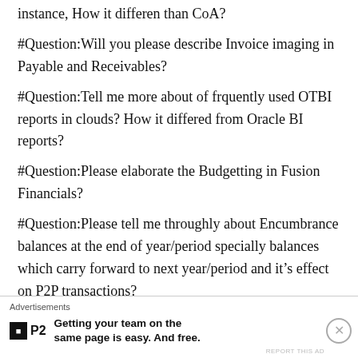instance, How it differen than CoA?
#Question:Will you please describe Invoice imaging in Payable and Receivables?
#Question:Tell me more about of frquently used OTBI reports in clouds? How it differed from Oracle BI reports?
#Question:Please elaborate the Budgetting in Fusion Financials?
#Question:Please tell me throughly about Encumbrance balances at the end of year/period specially balances which carry forward to next year/period and it's effect on P2P transactions?
#Question:How to use Calculation manager for create Mass Allocation Journals and Recurring Journals?
Advertisements
[Figure (logo): P2 logo with tagline: Getting your team on the same page is easy. And free.]